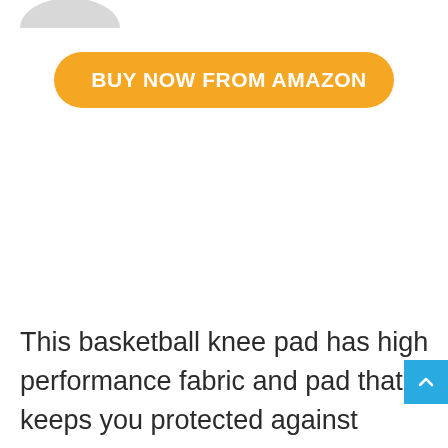[Figure (other): Partial logo or image cropped at top of page]
🛒 BUY NOW FROM AMAZON
This basketball knee pad has high performance fabric and pad that keeps you protected against